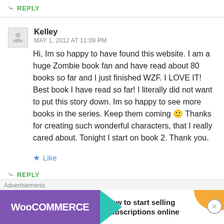↪ REPLY
Kelley
MAY 1, 2012 AT 11:09 PM
Hi, Im so happy to have found this website. I am a huge Zombie book fan and have read about 80 books so far and I just finished WZF. I LOVE IT! Best book I have read so far! I literally did not want to put this story down. Im so happy to see more books in the series. Keep them coming 🙂 Thanks for creating such wonderful characters, that I really cared about. Tonight I start on book 2. Thank you.
★ Like
↪ REPLY
[Figure (screenshot): WooCommerce advertisement banner: purple background with WooCommerce logo, green arrow, text 'How to start selling subscriptions online', orange decorative blob]